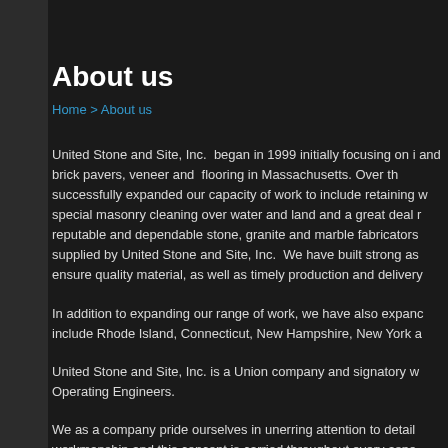About us
Home > About us
United Stone and Site, Inc.  began in 1999 initially focusing on i and brick pavers, veneer and  flooring in Massachusetts. Over th successfully expanded our capacity of work to include retaining w special masonry cleaning over water and land and a great deal r reputable and dependable stone, granite and marble fabricators supplied by United Stone and Site, Inc.  We have built strong as ensure quality material, as well as timely production and delivery
In addition to expanding our range of work, we have also expanc include Rhode Island, Connecticut, New Hampshire, New York a
United Stone and Site, Inc. is a Union company and signatory w Operating Engineers.
We as a company pride ourselves in unerring attention to detail workmanship and this concept is carried throughout every aspe
United Stone and Site, Inc. is certified with SDO (State Office of Assistance) and DBE (Disadvantaged Business Enterprise).